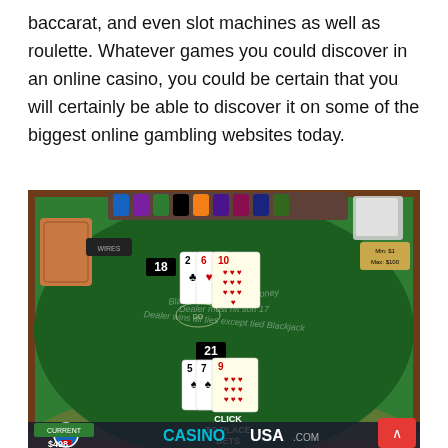baccarat, and even slot machines as well as roulette. Whatever games you could discover in an online casino, you could be certain that you will certainly be able to discover it on some of the biggest online gambling websites today.
[Figure (screenshot): Screenshot of an online blackjack game showing a green casino table. Dealer hand shows 18 with cards 2, 6, 10 of clubs/hearts. Player hand shows 21 with cards 5, 7, 9. Table text reads 'Blackjack pays even money', 'Dealer must hit soft 17', 'Dealer wins all ties except tied Blackjack'. Bottom shows CASINOUSA.COM watermark and CLICK TO PLACE BETS prompt.]